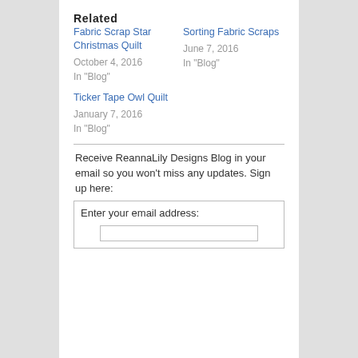Related
Fabric Scrap Star Christmas Quilt
October 4, 2016
In "Blog"
Sorting Fabric Scraps
June 7, 2016
In "Blog"
Ticker Tape Owl Quilt
January 7, 2016
In "Blog"
Receive ReannaLily Designs Blog in your email so you won't miss any updates. Sign up here:
Enter your email address: